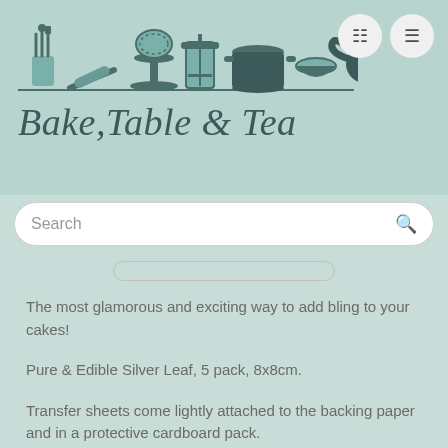[Figure (logo): Bake, Table & Tea website header with kitchen utensil silhouettes (spoons, rolling pin, cake stand, french press, pot, bowl, teapot, teacup) in dark teal on a light teal background, and the brand name 'Bake, Table & Tea' in italic serif font below]
Search
The most glamorous and exciting way to add bling to your cakes!
Pure & Edible Silver Leaf, 5 pack, 8x8cm.
Transfer sheets come lightly attached to the backing paper and in a protective cardboard pack.
Directions: